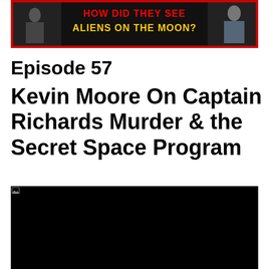[Figure (screenshot): Banner image with red border showing text 'HOW DID THEY SEE ALIENS ON THE MOON?' in bold yellow/red letters, with two figures on either side]
Episode 57
Kevin Moore On Captain Richards Murder & the Secret Space Program
[Figure (screenshot): Black video player thumbnail]